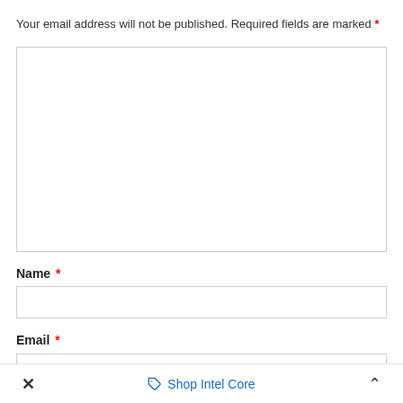Your email address will not be published. Required fields are marked *
[Figure (other): Large empty comment text area input box]
Name *
[Figure (other): Name text input field]
Email *
[Figure (other): Email text input field]
× Shop Intel Core ∧